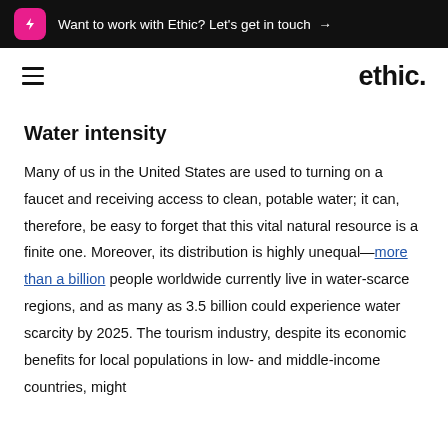Want to work with Ethic? Let's get in touch →
ethic.
Water intensity
Many of us in the United States are used to turning on a faucet and receiving access to clean, potable water; it can, therefore, be easy to forget that this vital natural resource is a finite one. Moreover, its distribution is highly unequal—more than a billion people worldwide currently live in water-scarce regions, and as many as 3.5 billion could experience water scarcity by 2025. The tourism industry, despite its economic benefits for local populations in low- and middle-income countries, might